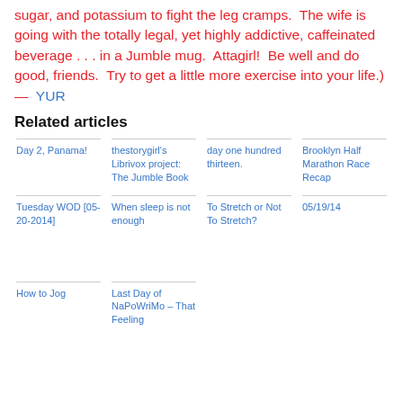sugar, and potassium to fight the leg cramps.  The wife is going with the totally legal, yet highly addictive, caffeinated beverage . . . in a Jumble mug.  Attagirl!  Be well and do good, friends.  Try to get a little more exercise into your life.)  —  YUR
Related articles
Day 2, Panama!
thestorygirl's Librivox project: The Jumble Book
day one hundred thirteen.
Brooklyn Half Marathon Race Recap
Tuesday WOD [05-20-2014]
When sleep is not enough
To Stretch or Not To Stretch?
05/19/14
How to Jog
Last Day of NaPoWriMo – That Feeling